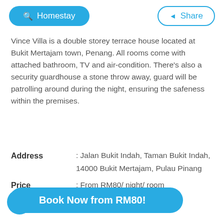Homestay | Share
Vince Villa is a double storey terrace house located at Bukit Mertajam town, Penang. All rooms come with attached bathroom, TV and air-condition. There's also a security guardhouse a stone throw away, guard will be patrolling around during the night, ensuring the safeness within the premises.
Address : Jalan Bukit Indah, Taman Bukit Indah, 14000 Bukit Mertajam, Pulau Pinang
Price : From RM80/ night/ room
Number of Pax : 1-4 pax per room
Book Now from RM80!